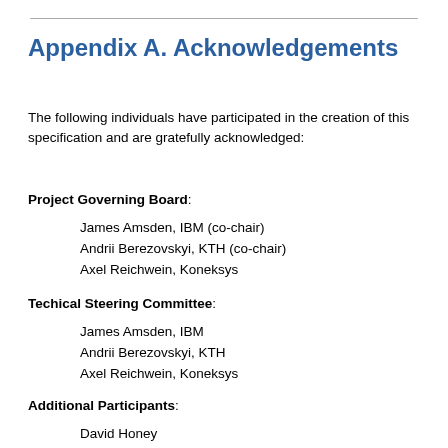Appendix A. Acknowledgements
The following individuals have participated in the creation of this specification and are gratefully acknowledged:
Project Governing Board:
James Amsden, IBM (co-chair)
Andrii Berezovskyi, KTH (co-chair)
Axel Reichwein, Koneksys
Techical Steering Committee:
James Amsden, IBM
Andrii Berezovskyi, KTH
Axel Reichwein, Koneksys
Additional Participants:
David Honey